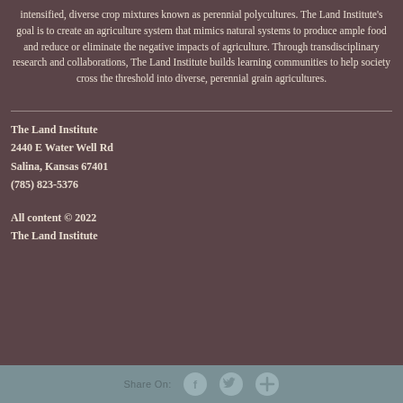intensified, diverse crop mixtures known as perennial polycultures. The Land Institute's goal is to create an agriculture system that mimics natural systems to produce ample food and reduce or eliminate the negative impacts of agriculture. Through transdisciplinary research and collaborations, The Land Institute builds learning communities to help society cross the threshold into diverse, perennial grain agricultures.
The Land Institute
2440 E Water Well Rd
Salina, Kansas 67401
(785) 823-5376
All content © 2022
The Land Institute
Share On: